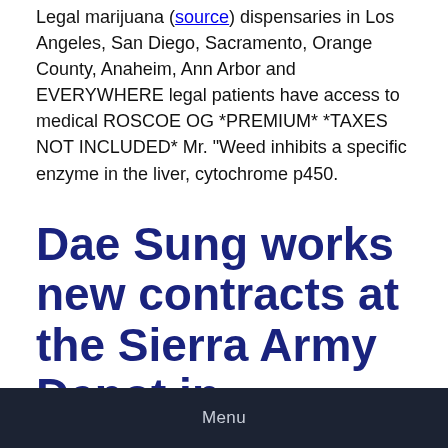Legal marijuana (source) dispensaries in Los Angeles, San Diego, Sacramento, Orange County, Anaheim, Ann Arbor and EVERYWHERE legal patients have access to medical ROSCOE OG *PREMIUM* *TAXES NOT INCLUDED* Mr. "Weed inhibits a specific enzyme in the liver, cytochrome p450.
Dae Sung works new contracts at the Sierra Army Depot in California
Menu